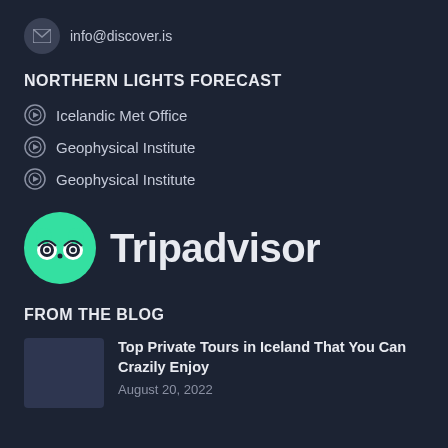info@discover.is
NORTHERN LIGHTS FORECAST
Icelandic Met Office
Geophysical Institute
Geophysical Institute
[Figure (logo): Tripadvisor logo with green owl circle icon and 'Tripadvisor' text in dark color]
FROM THE BLOG
Top Private Tours in Iceland That You Can Crazily Enjoy
August 20, 2022